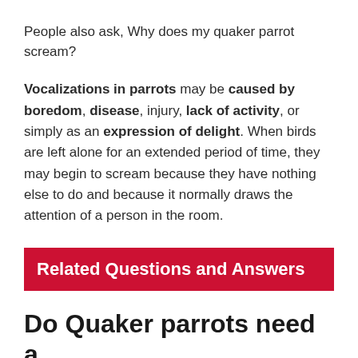People also ask, Why does my quaker parrot scream?
Vocalizations in parrots may be caused by boredom, disease, injury, lack of activity, or simply as an expression of delight. When birds are left alone for an extended period of time, they may begin to scream because they have nothing else to do and because it normally draws the attention of a person in the room.
Related Questions and Answers
Do Quaker parrots need a